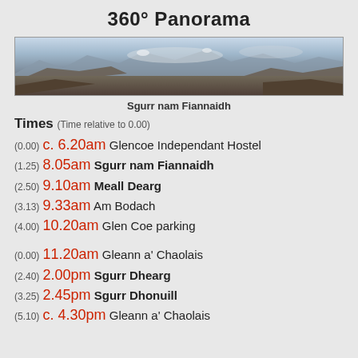360° Panorama
[Figure (photo): Wide panoramic mountain landscape photograph showing misty peaks and moorland, labeled Sgurr nam Fiannaidh]
Sgurr nam Fiannaidh
Times (Time relative to 0.00)
(0.00) c. 6.20am Glencoe Independant Hostel
(1.25) 8.05am Sgurr nam Fiannaidh
(2.50) 9.10am Meall Dearg
(3.13) 9.33am Am Bodach
(4.00) 10.20am Glen Coe parking
(0.00) 11.20am Gleann a' Chaolais
(2.40) 2.00pm Sgurr Dhearg
(3.25) 2.45pm Sgurr Dhonuill
(5.10) c. 4.30pm Gleann a' Chaolais